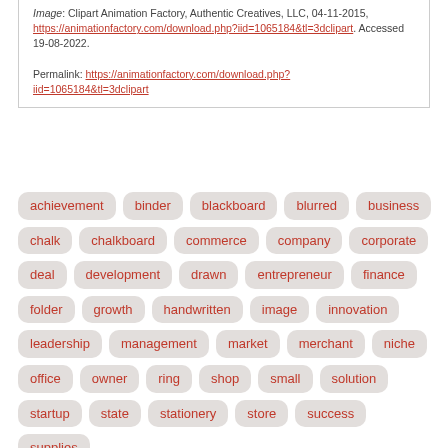Image: Clipart Animation Factory, Authentic Creatives, LLC, 04-11-2015, https://animationfactory.com/download.php?iid=1065184&tl=3dclipart. Accessed 19-08-2022.

Permalink: https://animationfactory.com/download.php?iid=1065184&tl=3dclipart
achievement
binder
blackboard
blurred
business
chalk
chalkboard
commerce
company
corporate
deal
development
drawn
entrepreneur
finance
folder
growth
handwritten
image
innovation
leadership
management
market
merchant
niche
office
owner
ring
shop
small
solution
startup
state
stationery
store
success
supplies